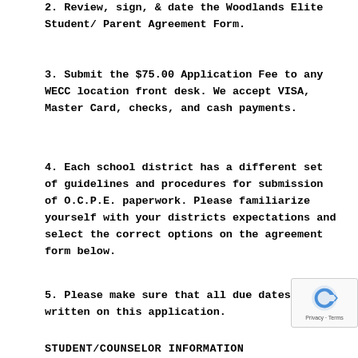2. Review, sign, & date the Woodlands Elite Student/ Parent Agreement Form.
3. Submit the $75.00 Application Fee to any WECC location front desk. We accept VISA, Master Card, checks, and cash payments.
4. Each school district has a different set of guidelines and procedures for submission of O.C.P.E. paperwork. Please familiarize yourself with your districts expectations and select the correct options on the agreement form below.
5. Please make sure that all due dates are written on this application.
STUDENT/COUNSELOR INFORMATION